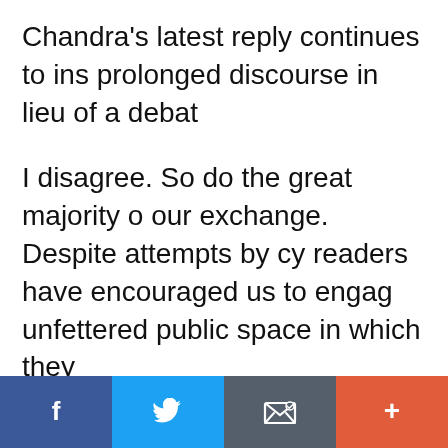Chandra's latest reply continues to ins prolonged discourse in lieu of a debat
I disagree. So do the great majority o our exchange. Despite attempts by cy readers have encouraged us to engag unfettered public space in which they
If I had thought that the scholar rathe prevail, I was mistaken. Read the rest